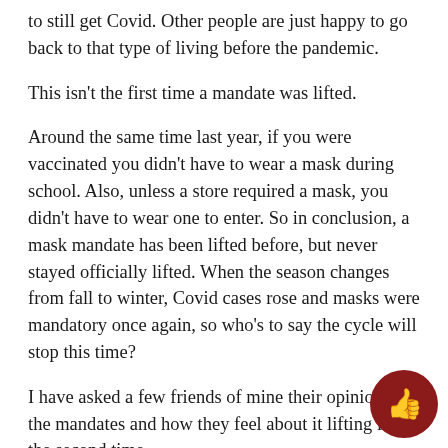to still get Covid. Other people are just happy to go back to that type of living before the pandemic.
This isn't the first time a mandate was lifted.
Around the same time last year, if you were vaccinated you didn't have to wear a mask during school. Also, unless a store required a mask, you didn't have to wear one to enter. So in conclusion, a mask mandate has been lifted before, but never stayed officially lifted. When the season changes from fall to winter, Covid cases rose and masks were mandatory once again, so who's to say the cycle will stop this time?
I have asked a few friends of mine their opinions on the mandates and how they feel about it lifting for the second time.
Taylor Peters, a freshman here at HHS said, “I believe that in some situations a mask is needed, but in others it isn't hospitals, a mask should be worn, but other than that, I think